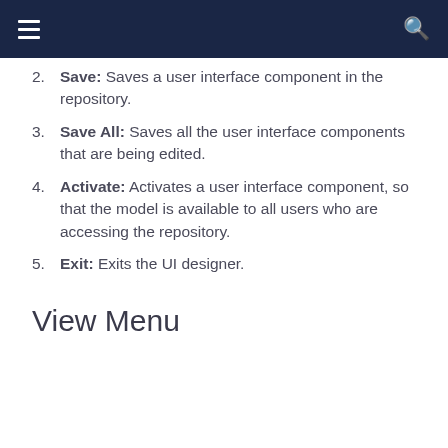Save: Saves a user interface component in the repository.
Save All: Saves all the user interface components that are being edited.
Activate: Activates a user interface component, so that the model is available to all users who are accessing the repository.
Exit: Exits the UI designer.
View Menu